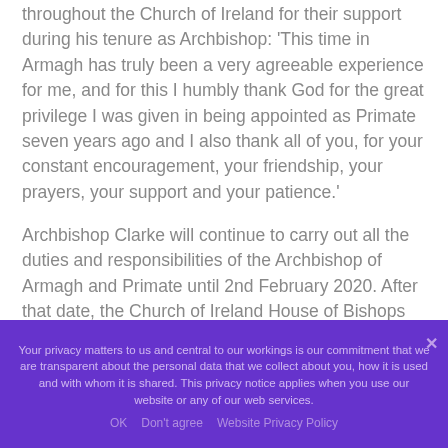He expressed his gratitude to the diocese and others throughout the Church of Ireland for their support during his tenure as Archbishop: 'This time in Armagh has truly been a very agreeable experience for me, and for this I humbly thank God for the great privilege I was given in being appointed as Primate seven years ago and I also thank all of you, for your constant encouragement, your friendship, your prayers, your support and your patience.'
Archbishop Clarke will continue to carry out all the duties and responsibilities of the Archbishop of Armagh and Primate until 2nd February 2020. After that date, the Church of Ireland House of Bishops will consider the
Your privacy matters to us and central to our workings is our commitment that we are transparent about the personal data that we collect about you, how it is used and with whom it is shared. This privacy notice applies when you use our website or any of our web services.
OK   Don't agree   Website Privacy Policy